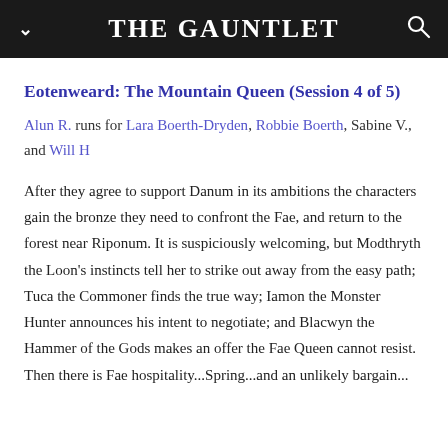THE GAUNTLET
Eotenweard: The Mountain Queen (Session 4 of 5)
Alun R. runs for Lara Boerth-Dryden, Robbie Boerth, Sabine V., and Will H
After they agree to support Danum in its ambitions the characters gain the bronze they need to confront the Fae, and return to the forest near Riponum. It is suspiciously welcoming, but Modthryth the Loon's instincts tell her to strike out away from the easy path; Tuca the Commoner finds the true way; Iamon the Monster Hunter announces his intent to negotiate; and Blacwyn the Hammer of the Gods makes an offer the Fae Queen cannot resist. Then there is Fae hospitality...Spring...and an unlikely bargain...